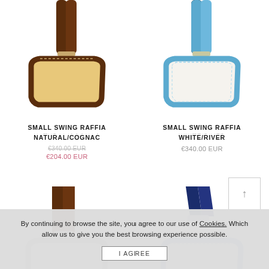[Figure (photo): Small Swing Raffia Natural/Cognac handbag with brown strap and yellow/tan body]
SMALL SWING RAFFIA NATURAL/COGNAC
€340.00 EUR (strikethrough) €204.00 EUR (sale price)
[Figure (photo): Small Swing Raffia White/River handbag with light blue strap and white body]
SMALL SWING RAFFIA WHITE/RIVER
€340.00 EUR
[Figure (photo): Small Swing Raffia handbag with brown strap and cream/gray body (bottom left, partially visible)]
[Figure (photo): Small Swing Raffia handbag with navy blue strap and cream/blue body (bottom right, partially visible)]
By continuing to browse the site, you agree to our use of Cookies. Which allow us to give you the best browsing experience possible.
I AGREE